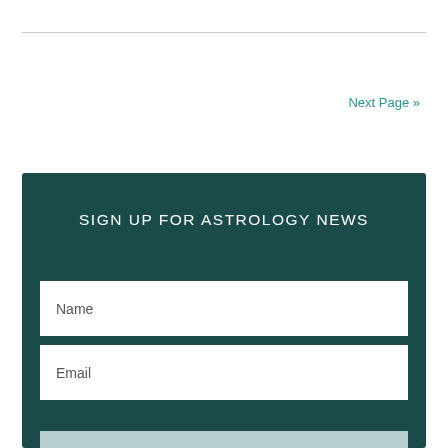Next Page »
SIGN UP FOR ASTROLOGY NEWS
Name
Email
SUBMIT